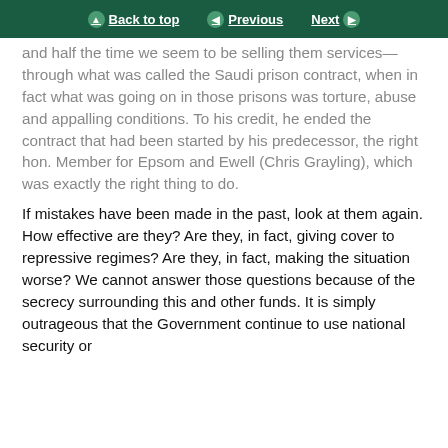Back to top | Previous | Next
and half the time we seem to be selling them services—through what was called the Saudi prison contract, when in fact what was going on in those prisons was torture, abuse and appalling conditions. To his credit, he ended the contract that had been started by his predecessor, the right hon. Member for Epsom and Ewell (Chris Grayling), which was exactly the right thing to do.
If mistakes have been made in the past, look at them again. How effective are they? Are they, in fact, giving cover to repressive regimes? Are they, in fact, making the situation worse? We cannot answer those questions because of the secrecy surrounding this and other funds. It is simply outrageous that the Government continue to use national security or